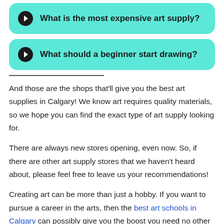What is the most expensive art supply?
What should a beginner start drawing?
And those are the shops that'll give you the best art supplies in Calgary! We know art requires quality materials, so we hope you can find the exact type of art supply looking for.
There are always new stores opening, even now. So, if there are other art supply stores that we haven't heard about, please feel free to leave us your recommendations!
Creating art can be more than just a hobby. If you want to pursue a career in the arts, then the best art schools in Calgary can possibly give you the boost you need no other